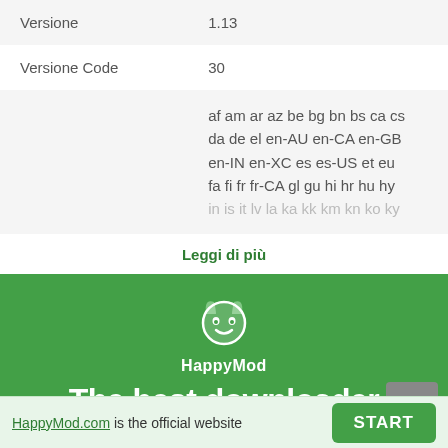| Versione | 1.13 |
| Versione Code | 30 |
|  | af am ar az be bg bn bs ca cs da de el en-AU en-CA en-GB en-IN en-XC es es-US et eu fa fi fr fr-CA gl gu hi hr hu hy in is it lv la ka kk km kn ko ky |
Leggi di più
[Figure (infographic): HappyMod green banner with monster face logo, text 'HappyMod' and 'The best downloader' headline]
HappyMod.com is the official website   START